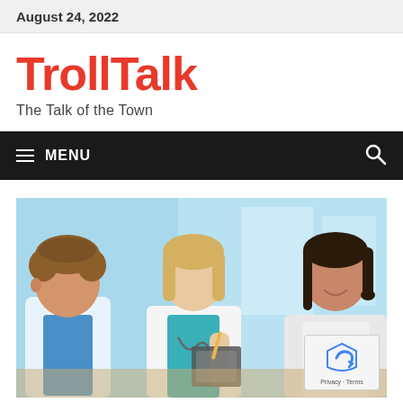August 24, 2022
TrollTalk
The Talk of the Town
≡ MENU
[Figure (photo): Three medical professionals (two doctors and a patient or colleague) sitting at a table in a clinical setting, one holding a clipboard and pencil, with a bright blue-lit background.]